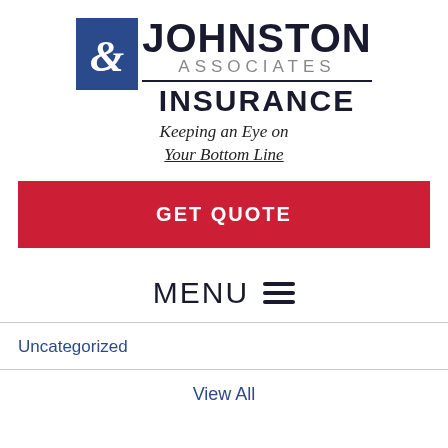[Figure (logo): Johnston & Associates Insurance logo with blue square containing ampersand, bold JOHNSTON text, gray ASSOCIATES text, and bold INSURANCE text below a horizontal rule, followed by italic cursive tagline 'Keeping an Eye on Your Bottom Line']
GET QUOTE
MENU ≡
Uncategorized
View All